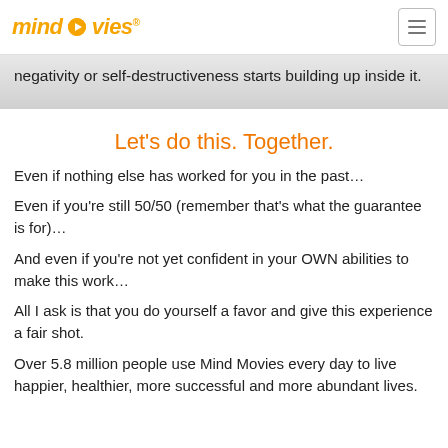mindmovies
negativity or self-destructiveness starts building up inside it.
Let's do this. Together.
Even if nothing else has worked for you in the past…
Even if you're still 50/50 (remember that's what the guarantee is for)…
And even if you're not yet confident in your OWN abilities to make this work…
All I ask is that you do yourself a favor and give this experience a fair shot.
Over 5.8 million people use Mind Movies every day to live happier, healthier, more successful and more abundant lives.